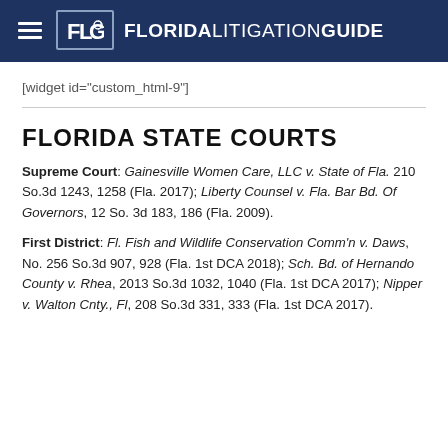FLORIDA LITIGATION GUIDE
[widget id="custom_html-9"]
FLORIDA STATE COURTS
Supreme Court: Gainesville Women Care, LLC v. State of Fla. 210 So.3d 1243, 1258 (Fla. 2017); Liberty Counsel v. Fla. Bar Bd. Of Governors, 12 So. 3d 183, 186 (Fla. 2009).
First District: Fl. Fish and Wildlife Conservation Comm'n v. Daws, No. 256 So.3d 907, 928 (Fla. 1st DCA 2018); Sch. Bd. of Hernando County v. Rhea, 2013 So.3d 1032, 1040 (Fla. 1st DCA 2017); Nipper v. Walton Cnty., Fl, 208 So.3d 331, 333 (Fla. 1st DCA 2017).